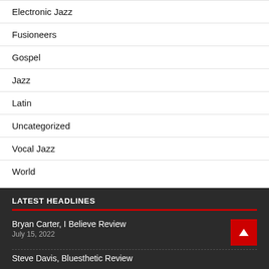Electronic Jazz
Fusioneers
Gospel
Jazz
Latin
Uncategorized
Vocal Jazz
World
LATEST HEADLINES
Bryan Carter, I Believe Review
July 15, 2022
Steve Davis, Bluesthetic Review